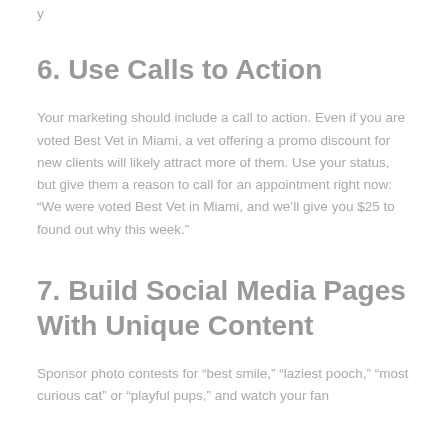y
6. Use Calls to Action
Your marketing should include a call to action. Even if you are voted Best Vet in Miami, a vet offering a promo discount for new clients will likely attract more of them. Use your status, but give them a reason to call for an appointment right now: “We were voted Best Vet in Miami, and we’ll give you $25 to found out why this week.”
7. Build Social Media Pages With Unique Content
Sponsor photo contests for “best smile,” “laziest pooch,” “most curious cat” or “playful pups,” and watch your fan